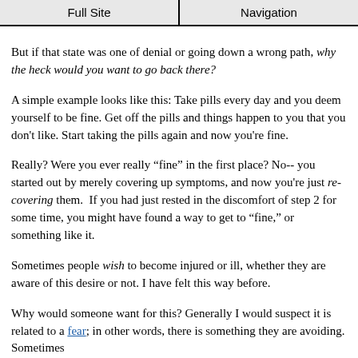Full Site | Navigation
But if that state was one of denial or going down a wrong path, why the heck would you want to go back there?
A simple example looks like this: Take pills every day and you deem yourself to be fine. Get off the pills and things happen to you that you don’t like. Start taking the pills again and now you’re fine.
Really? Were you ever really “fine” in the first place? No-- you started out by merely covering up symptoms, and now you’re just re-covering them. If you had just rested in the discomfort of step 2 for some time, you might have found a way to get to “fine,” or something like it.
Sometimes people wish to become injured or ill, whether they are aware of this desire or not. I have felt this way before.
Why would someone want for this? Generally I would suspect it is related to a fear; in other words, there is something they are avoiding. Sometimes